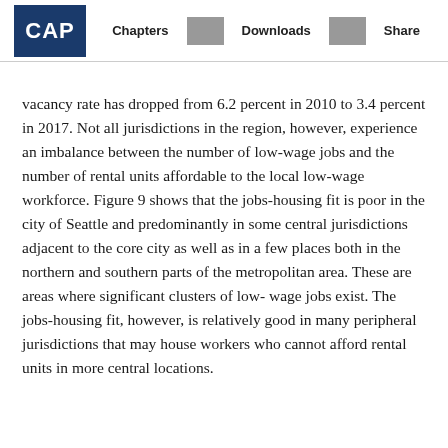CAP | Chapters | Downloads | Share
vacancy rate has dropped from 6.2 percent in 2010 to 3.4 percent in 2017. Not all jurisdictions in the region, however, experience an imbalance between the number of low-wage jobs and the number of rental units affordable to the local low-wage workforce. Figure 9 shows that the jobs-housing fit is poor in the city of Seattle and predominantly in some central jurisdictions adjacent to the core city as well as in a few places both in the northern and southern parts of the metropolitan area. These are areas where significant clusters of low-wage jobs exist. The jobs-housing fit, however, is relatively good in many peripheral jurisdictions that may house workers who cannot afford rental units in more central locations.